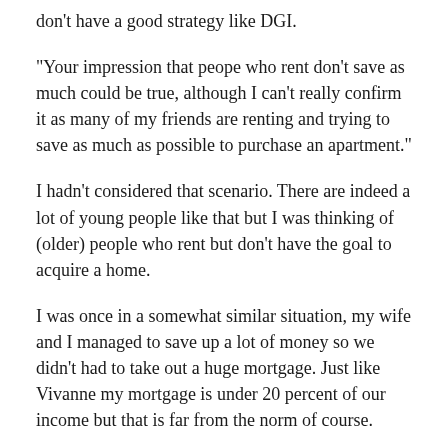don't have a good strategy like DGI.
“Your impression that peope who rent don’t save as much could be true, although I can’t really confirm it as many of my friends are renting and trying to save as much as possible to purchase an apartment.”
I hadn’t considered that scenario. There are indeed a lot of young people like that but I was thinking of (older) people who rent but don’t have the goal to acquire a home.
I was once in a somewhat similar situation, my wife and I managed to save up a lot of money so we didn’t had to take out a huge mortgage. Just like Vivanne my mortgage is under 20 percent of our income but that is far from the norm of course.
Reply